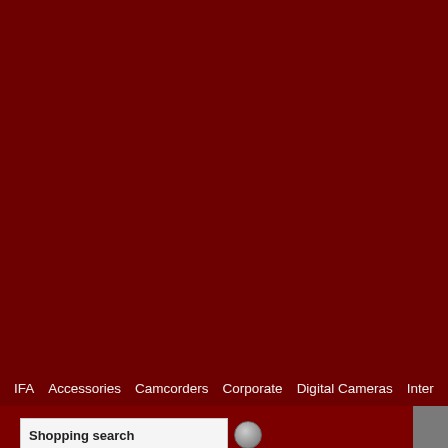IFA  Accessories  Camcorders  Corporate  Digital Cameras  Inter
Shopping search
IFA search
[Figure (screenshot): Advertisement vertical banner panel in gray]
NewsAlert!
Signup for our NewsAlert, and get an e-mail when new articles are posted...
E-mail address  Signup